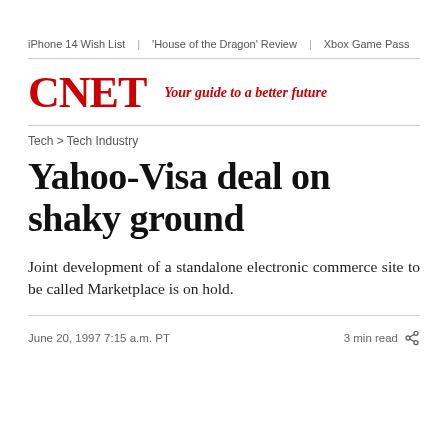iPhone 14 Wish List | 'House of the Dragon' Review | Xbox Game Pass
[Figure (logo): CNET logo in red bold serif font with tagline 'Your guide to a better future' in red italic]
Tech > Tech Industry
Yahoo-Visa deal on shaky ground
Joint development of a standalone electronic commerce site to be called Marketplace is on hold.
June 20, 1997 7:15 a.m. PT    3 min read